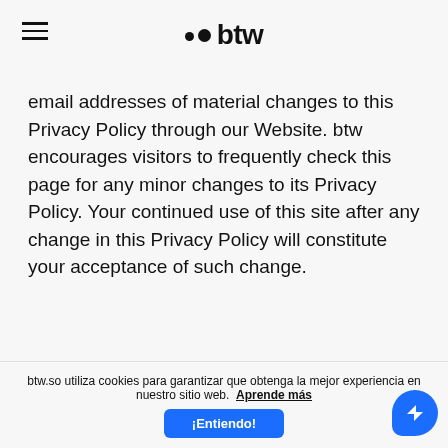btw (logo with hamburger menu)
email addresses of material changes to this Privacy Policy through our Website. btw encourages visitors to frequently check this page for any minor changes to its Privacy Policy. Your continued use of this site after any change in this Privacy Policy will constitute your acceptance of such change.
btw.so utiliza cookies para garantizar que obtenga la mejor experiencia en nuestro sitio web. Aprende más ¡Entiendo!